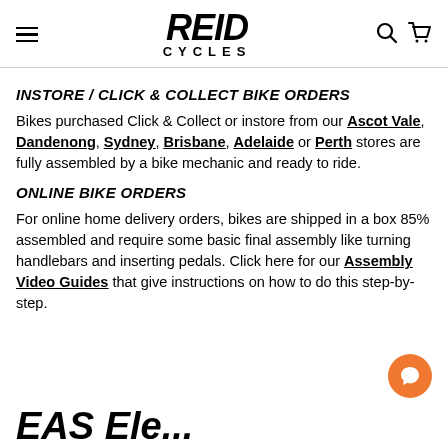REID CYCLES
INSTORE / CLICK & COLLECT BIKE ORDERS
Bikes purchased Click & Collect or instore from our Ascot Vale, Dandenong, Sydney, Brisbane, Adelaide or Perth stores are fully assembled by a bike mechanic and ready to ride.
ONLINE BIKE ORDERS
For online home delivery orders, bikes are shipped in a box 85% assembled and require some basic final assembly like turning handlebars and inserting pedals. Click here for our Assembly Video Guides that give instructions on how to do this step-by-step.